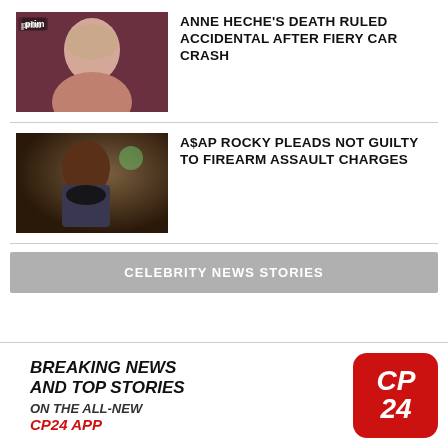[Figure (photo): Photo of Anne Heche smiling, Amazon Prime logo visible in background]
ANNE HECHE'S DEATH RULED ACCIDENTAL AFTER FIERY CAR CRASH
[Figure (photo): Photo of A$AP Rocky wearing a black mask in a courtroom]
A$AP ROCKY PLEADS NOT GUILTY TO FIREARM ASSAULT CHARGES
CELEBRITY NEWS STORIES
[Figure (logo): CP24 app advertisement with CP24 red logo]
BREAKING NEWS AND TOP STORIES ON THE ALL-NEW CP24 APP